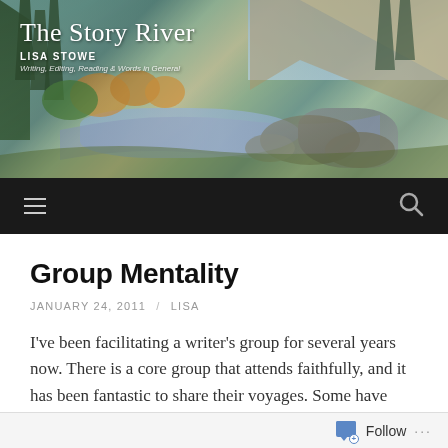[Figure (photo): Website header banner with a mountain river landscape photo. Shows a river with rocks, evergreen trees, and autumn foliage. White text overlay reads 'The Story River' with subtitle 'LISA STOWE' and tagline 'Writing, Editing, Reading & Words in General']
The Story River
LISA STOWE
Writing, Editing, Reading & Words in General
Group Mentality
JANUARY 24, 2011  /  LISA
I've been facilitating a writer's group for several years now.  There is a core group that attends faithfully, and it has been fantastic to share their voyages.  Some have become published authors, some have been able to
Follow ...